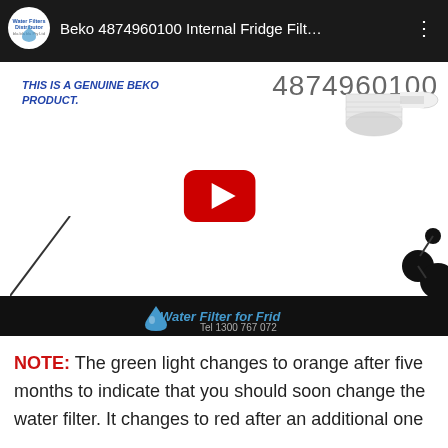[Figure (screenshot): YouTube video thumbnail for Beko 4874960100 Internal Fridge Filter showing the YouTube interface with channel logo, video title, play button overlay on product image]
NOTE: The green light changes to orange after five months to indicate that you should soon change the water filter. It changes to red after an additional one